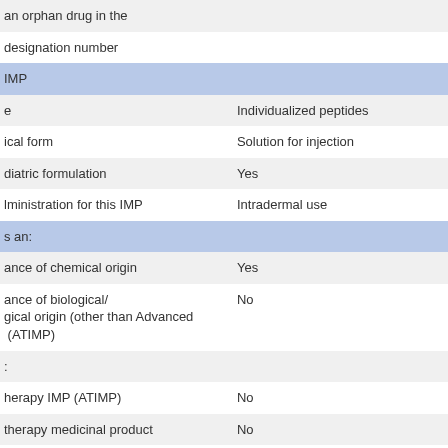| Field | Value |
| --- | --- |
| an orphan drug in the |  |
| designation number |  |
| IMP |  |
| e | Individualized peptides |
| ical form | Solution for injection |
| diatric formulation | Yes |
| lministration for this IMP | Intradermal use |
| s an: |  |
| ance of chemical origin | Yes |
| ance of biological/ gical origin (other than Advanced (ATIMP) | No |
| : |  |
| herapy IMP (ATIMP) | No |
| therapy medicinal product | No |
| y medical product | No |
| neered Product | No |
| ATIMP (i.e. one involving a | No |